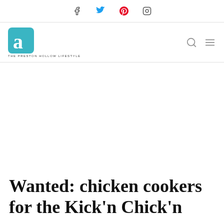Social icons: Facebook, Twitter, Pinterest, Instagram
[Figure (logo): Areal - The Preston Hollow Lifestyle logo: teal rounded square with stylized 'a', tagline THE PRESTON HOLLOW LIFESTYLE]
Wanted: chicken cookers for the Kick'n Chick'n